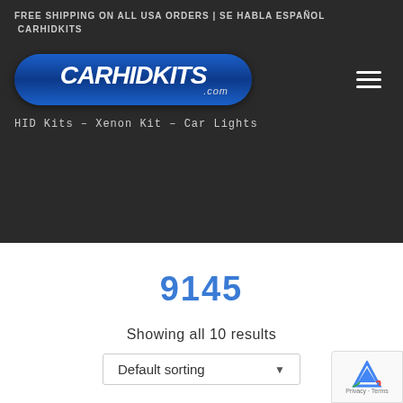FREE SHIPPING ON ALL USA ORDERS | SE HABLA ESPAÑOL CARHIDKITS
[Figure (logo): CARHIDKITS.com logo on blue rounded rectangle background]
HID Kits – Xenon Kit – Car Lights
9145
Showing all 10 results
Default sorting